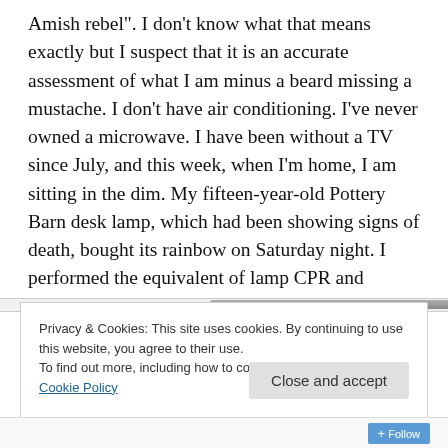Amish rebel". I don't know what that means exactly but I suspect that it is an accurate assessment of what I am minus a beard missing a mustache. I don't have air conditioning. I've never owned a microwave. I have been without a TV since July, and this week, when I'm home, I am sitting in the dim. My fifteen-year-old Pottery Barn desk lamp, which had been showing signs of death, bought its rainbow on Saturday night. I performed the equivalent of lamp CPR and swapped out the bulb to no avail. Then, I tried plugging it into another outlet but there was no light.
Privacy & Cookies: This site uses cookies. By continuing to use this website, you agree to their use.
To find out more, including how to control cookies, see here: Cookie Policy